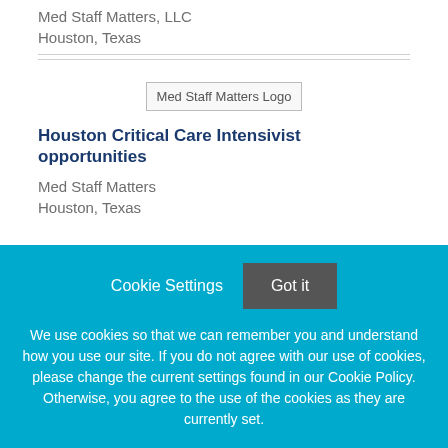Med Staff Matters, LLC
Houston, Texas
[Figure (logo): Med Staff Matters Logo placeholder image]
Houston Critical Care Intensivist opportunities
Med Staff Matters
Houston, Texas
Cookie Settings
Got it
We use cookies so that we can remember you and understand how you use our site. If you do not agree with our use of cookies, please change the current settings found in our Cookie Policy. Otherwise, you agree to the use of the cookies as they are currently set.